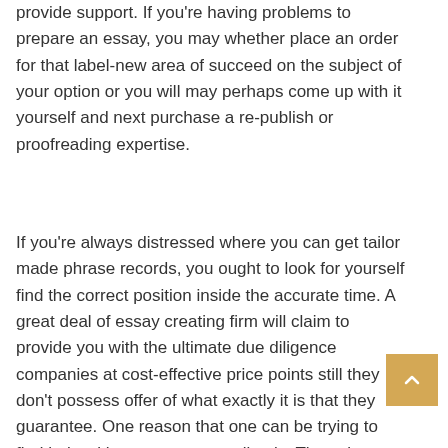provide support. If you're having problems to prepare an essay, you may whether place an order for that label-new area of succeed on the subject of your option or you will may perhaps come up with it yourself and next purchase a re-publish or proofreading expertise.
If you're always distressed where you can get tailor made phrase records, you ought to look for yourself find the correct position inside the accurate time. A great deal of essay creating firm will claim to provide you with the ultimate due diligence companies at cost-effective price points still they don't possess offer of what exactly it is that they guarantee. One reason that one can be trying to find help with name papers online is. The writer should have a thesis with main things informing why the